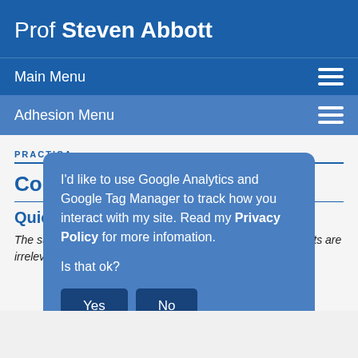Prof Steven Abbott
Main Menu
Adhesion Menu
PRACTICA
Coron
Quic
The surface energy effects of corona/plasma/flame treatments are irrelevant to adhesion. So what are
I'd like to use Google Analytics and Google Tag Manager to track how you interact with my site. Read my Privacy Policy for more infomation.

Is that ok?